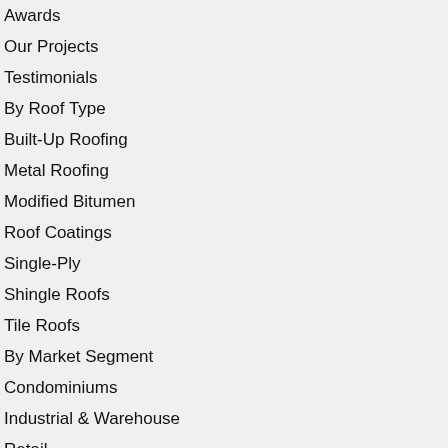Awards
Our Projects
Testimonials
By Roof Type
Built-Up Roofing
Metal Roofing
Modified Bitumen
Roof Coatings
Single-Ply
Shingle Roofs
Tile Roofs
By Market Segment
Condominiums
Industrial & Warehouse
Retail
Education
Government
Healthcare